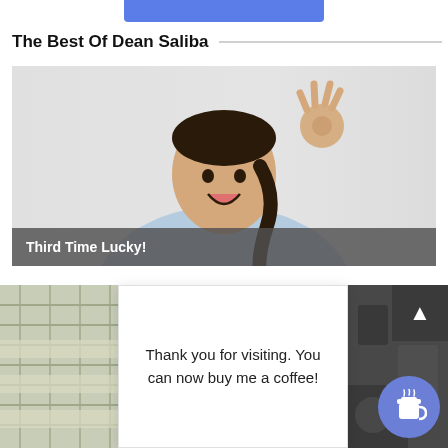[Figure (other): Blue button at top of page]
The Best Of Dean Saliba
[Figure (photo): Woman in light blue shirt making OK gesture with hand, smiling, with long braid]
Third Time Lucky!
[Figure (photo): Left: fabric/textile close-up thumbnail]
Thank you for visiting. You can now buy me a coffee!
[Figure (photo): Right: dark background thumbnail]
[Figure (other): Scroll-up arrow button (dark square, top-right of bottom section)]
[Figure (other): Coffee cup buy-me-a-coffee circular blue button]